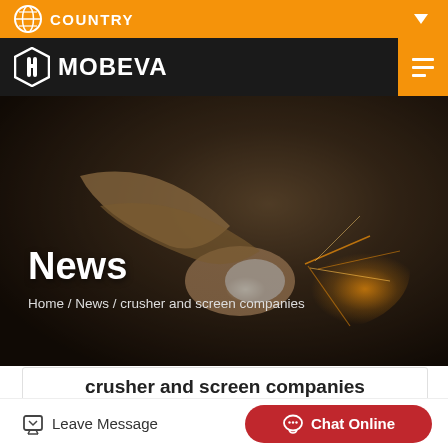COUNTRY
[Figure (logo): MOBEVA company logo with navigation bar]
[Figure (photo): Industrial worker using an angle grinder with sparks flying, dark background, hero banner image]
News
Home / News / crusher and screen companies
crusher and screen companies
Leave Message
Chat Online